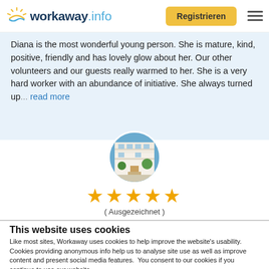workaway.info — Registrieren
Diana is the most wonderful young person. She is mature, kind, positive, friendly and has lovely glow about her. Our other volunteers and our guests really warmed to her. She is a very hard worker with an abundance of initiative. She always turned up... read more
[Figure (photo): Circular photo of a building exterior with balconies, palm trees and outdoor seating area]
[Figure (other): Five gold stars rating with label (Ausgezeichnet)]
This website uses cookies
Like most sites, Workaway uses cookies to help improve the website's usability. Cookies providing anonymous info help us to analyse site use as well as improve content and present social media features.  You consent to our cookies if you continue to use our website.
OK   Settings